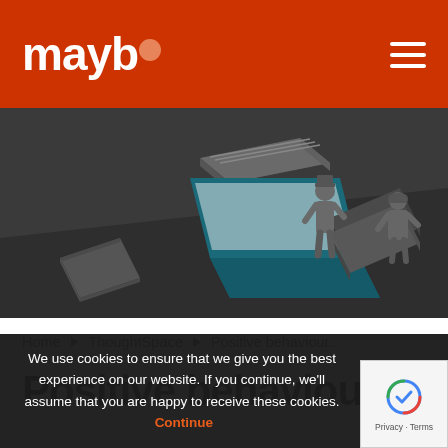maybo
[Figure (illustration): Isometric illustration on dark grey background showing a laptop, tablet, books, and two human silhouette figures interacting]
Home ▶ ThoughtSpace ▶ Positive behaviour...
Positive behaviour...
We use cookies to ensure that we give you the best experience on our website. If you continue, we'll assume that you are happy to receive these cookies. Continue